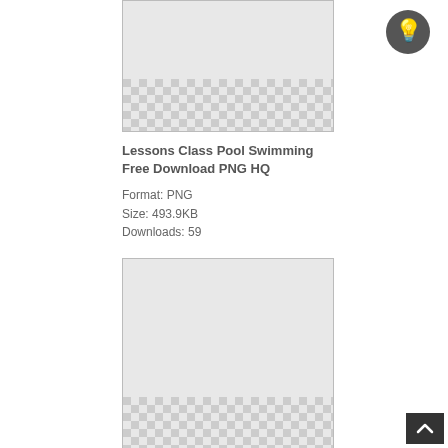[Figure (illustration): Checkerboard transparency pattern placeholder image for PNG file (top)]
Lessons Class Pool Swimming Free Download PNG HQ
Format: PNG
Size: 493.9KB
Downloads: 59
[Figure (illustration): Checkerboard transparency pattern placeholder image for PNG file (bottom)]